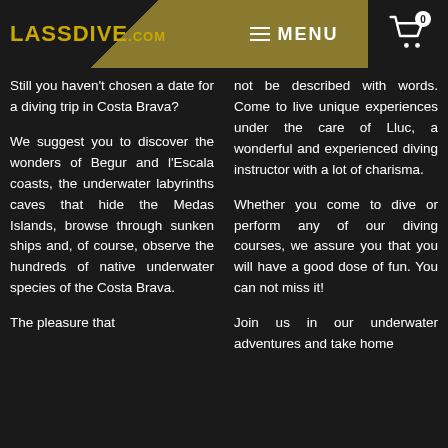LASSDIVE.COM | MENU | 0
Still you haven't chosen a date for a diving trip in Costa Brava?
We suggest you to discover the wonders of Begur and l'Escala coasts, the underwater labyrinths caves that hide the Medas Islands, browse through sunken ships and, of course, observe the hundreds of native underwater species of the Costa Brava.
The pleasure that
not be described with words. Come to live unique experiences under the care of Lluc, a wonderful and experienced diving instructor with a lot of charisma.
Whether you come to dive or perform any of our diving courses, we assure you that you will have a good dose of fun. You can not miss it!
Join us in our underwater adventures and take home